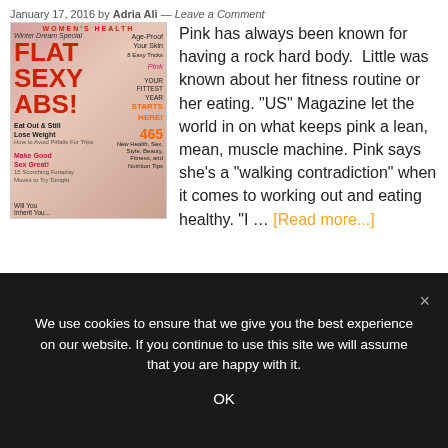January 17, 2016 by Adria Ali — Leave a Comment
[Figure (photo): Magazine cover: Women's Health special issue featuring Pink, with text 'FLAT SEXY ABS!', 'Age-Proof Your Skin', 'YOUR FITTEST YEAR STARTS HERE!', '465 New Health, Sex, Style, Beauty, Fitness, and Nutrition Tips', 'Eat Out & Still Lose Weight', 'Make Good Sex Great!', 'Will You Inherit You...']
Pink has always been known for having a rock hard body.  Little was known about her fitness routine or her eating. "US" Magazine let the world in on what keeps pink a lean, mean, muscle machine. Pink says she's a "walking contradiction" when it comes to working out and eating healthy. "I … [Read more...]
We use cookies to ensure that we give you the best experience on our website. If you continue to use this site we will assume that you are happy with it.
OK